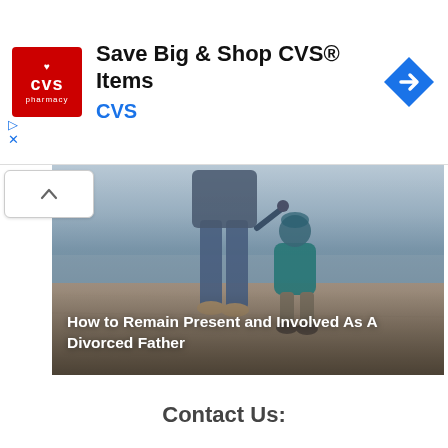[Figure (screenshot): CVS Pharmacy advertisement banner: CVS logo on left, headline 'Save Big & Shop CVS® Items', blue 'CVS' brand text, blue diamond navigation arrow icon on right]
[Figure (photo): Photo of an adult (father) and small child holding hands while walking on a beach, viewed from behind. The child is wearing a teal/blue jacket. Overcast sky and sandy beach in background.]
How to Remain Present and Involved As A Divorced Father
Contact Us: